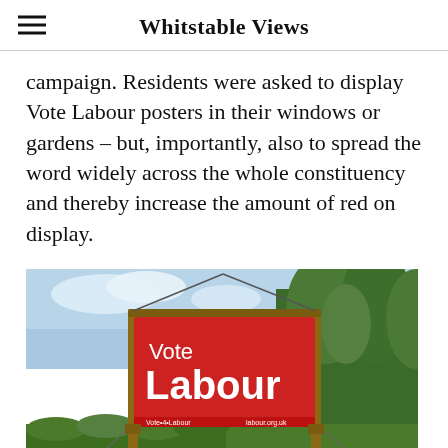Whitstable Views
campaign. Residents were asked to display Vote Labour posters in their windows or gardens – but, importantly, also to spread the word widely across the whole constituency and thereby increase the amount of red on display.
[Figure (photo): A large red Vote Labour campaign billboard on a wooden frame structure, with trees and green hedges visible in the background under a partly cloudy sky.]